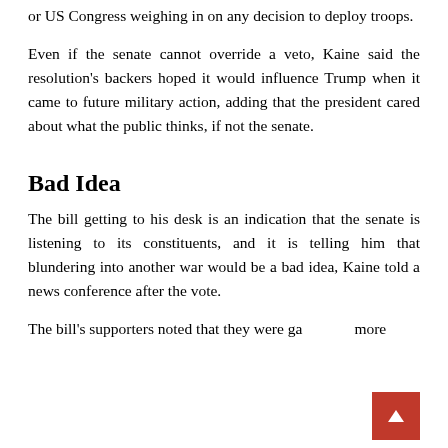or US Congress weighing in on any decision to deploy troops.
Even if the senate cannot override a veto, Kaine said the resolution's backers hoped it would influence Trump when it came to future military action, adding that the president cared about what the public thinks, if not the senate.
Bad Idea
The bill getting to his desk is an indication that the senate is listening to its constituents, and it is telling him that blundering into another war would be a bad idea, Kaine told a news conference after the vote.
The bill's supporters noted that they were ga more